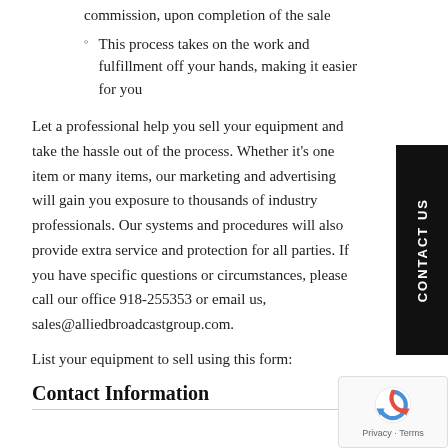commission, upon completion of the sale
This process takes on the work and fulfillment off your hands, making it easier for you
Let a professional help you sell your equipment and take the hassle out of the process. Whether it's one item or many items, our marketing and advertising will gain you exposure to thousands of industry professionals. Our systems and procedures will also provide extra service and protection for all parties. If you have specific questions or circumstances, please call our office 918-255353 or email us, sales@alliedbroadcastgroup.com.
List your equipment to sell using this form:
Contact Information
Full Name